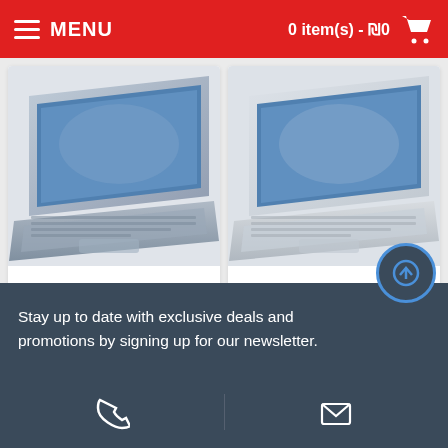MENU | 0 item(s) - ₪0
[Figure (photo): HP Pavilion laptop in silver/blue color, angled view from above, showing keyboard and screen with wallpaper]
HP - Pavilion - 15.6"FHD-IPS/i5-1135G7 /8GB+/512GB /Win10/1Yr
₪3,700
[Figure (photo): HP Laptop 14S in white color, angled view from above, showing keyboard and screen with wallpaper]
HP - Laptop 14S - 14"FHD-IPS/i5-1135G7 /8GB/512GB /Win10/1Yr
₪3,550
Stay up to date with exclusive deals and promotions by signing up for our newsletter.